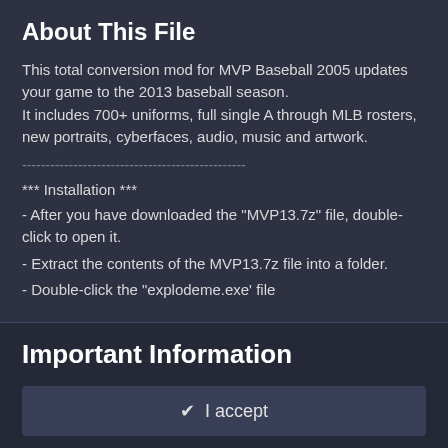About This File
This total conversion mod for MVP Baseball 2005 updates your game to the 2013 baseball season.
It includes 700+ uniforms, full single A through MLB rosters, new portraits, cyberfaces, audio, music and artwork.
------------------------------------------------
*** Installation ***
- After you have downloaded the "MVP13.7z" file, double-click to open it.
- Extract the contents of the MVP13.7z file into a folder.
- Double-click the "explodeme.exe' file
Important Information
We have placed cookies on your device to help make this website better. You can adjust your cookie settings, otherwise we'll assume you're okay to continue.
✔ I accept